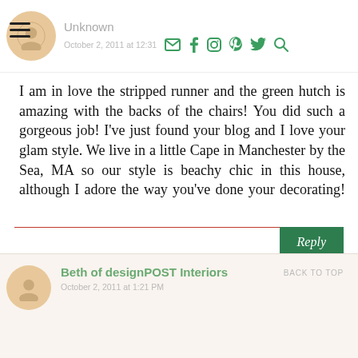Unknown — October 2, 2011 at 12:31
I am in love the stripped runner and the green hutch is amazing with the backs of the chairs! You did such a gorgeous job! I've just found your blog and I love your glam style. We live in a little Cape in Manchester by the Sea, MA so our style is beachy chic in this house, although I adore the way you've done your decorating! Here is my tablescape: http://www.migonishome.com/2013/10/autumn-tablescape.html
Beth of designPOST Interiors — October 2, 2011 at 1:21 PM — BACK TO TOP